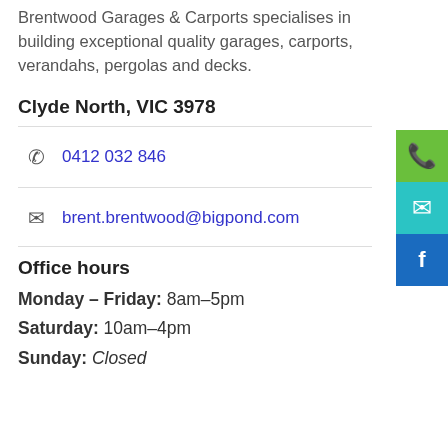Brentwood Garages & Carports specialises in building exceptional quality garages, carports, verandahs, pergolas and decks.
Clyde North, VIC 3978
0412 032 846
brent.brentwood@bigpond.com
Office hours
Monday – Friday: 8am–5pm
Saturday: 10am–4pm
Sunday: Closed